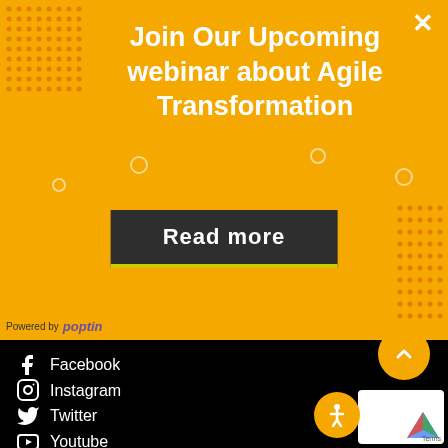Join Our Upcoming webinar about Agile Transformation
Read more
Powered by poptin
Facebook
Instagram
Twitter
Youtube
Resources
News
Scrum Guide
Webinar
Q & A
E Book